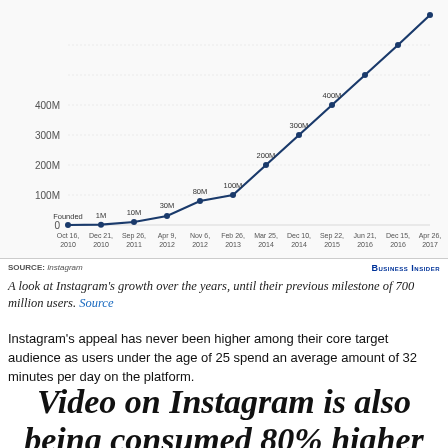[Figure (line-chart): Instagram user growth]
A look at Instagram's growth over the years, until their previous milestone of 700 million users. Source
Instagram's appeal has never been higher among their core target audience as users under the age of 25 spend an average amount of 32 minutes per day on the platform.
Video on Instagram is also being consumed 80% higher